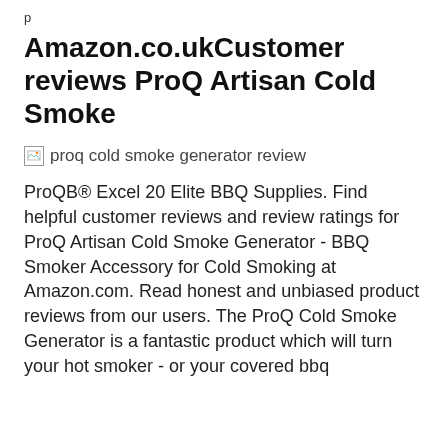p
Amazon.co.ukCustomer reviews ProQ Artisan Cold Smoke
[Figure (photo): Broken/placeholder image with alt text: proq cold smoke generator review]
ProQB® Excel 20 Elite BBQ Supplies. Find helpful customer reviews and review ratings for ProQ Artisan Cold Smoke Generator - BBQ Smoker Accessory for Cold Smoking at Amazon.com. Read honest and unbiased product reviews from our users. The ProQ Cold Smoke Generator is a fantastic product which will turn your hot smoker - or your covered bbq